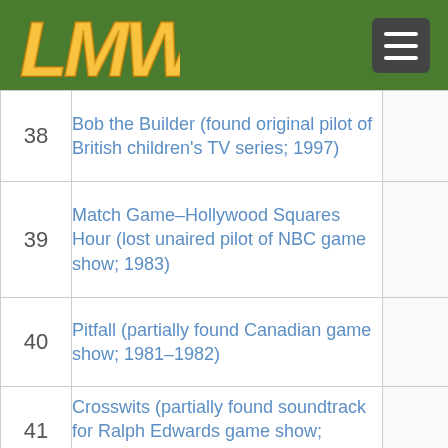LMW logo and navigation
| # | Title |  |
| --- | --- | --- |
| 38 | Bob the Builder (found original pilot of British children's TV series; 1997) |  |
| 39 | Match Game–Hollywood Squares Hour (lost unaired pilot of NBC game show; 1983) |  |
| 40 | Pitfall (partially found Canadian game show; 1981–1982) |  |
| 41 | Crosswits (partially found soundtrack for Ralph Edwards game show; 1970s) |  |
| 42 | Tattletales (partially found syndicated version of CBS game show; 1977–1978) |  |
| 43 | The Joker's Wild (partially found tryout version of Jack Barry game show; 1971) |  |